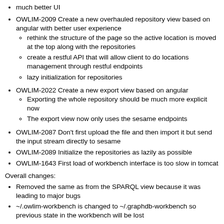much better UI
OWLIM-2009 Create a new overhauled repository view based on angular with better user experience
rethink the structure of the page so the active location is moved at the top along with the repositories
create a restful API that will allow client to do locations management through restful endpoints
lazy initialization for repositories
OWLIM-2022 Create a new export view based on angular
Exporting the whole repository should be much more explicit now
The export view now only uses the sesame endpoints
OWLIM-2087 Don't first upload the file and then import it but send the input stream directly to sesame
OWLIM-2089 Initialize the repositories as lazily as possible
OWLIM-1643 First load of workbench interface is too slow in tomcat
Overall changes:
Removed the same as from the SPARQL view because it was leading to major bugs
~/.owlim-workbench is changed to ~/.graphdb-workbench so previous state in the workbench will be lost